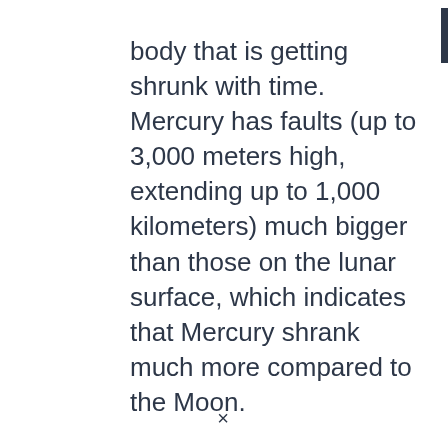body that is getting shrunk with time. Mercury has faults (up to 3,000 meters high, extending up to 1,000 kilometers) much bigger than those on the lunar surface, which indicates that Mercury shrank much more compared to the Moon.
So far, LRO has captured more than 3,500 fault scarps of the lunar surface. In coming years, scientists will compare
×